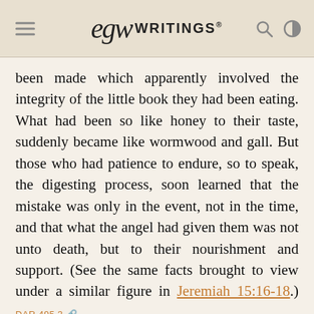EGW Writings
been made which apparently involved the integrity of the little book they had been eating. What had been so like honey to their taste, suddenly became like wormwood and gall. But those who had patience to endure, so to speak, the digesting process, soon learned that the mistake was only in the event, not in the time, and that what the angel had given them was not unto death, but to their nourishment and support. (See the same facts brought to view under a similar figure in Jeremiah 15:16-18.) DAR 495.3
VERSE 11. And he said unto me, Thou must prophesy again before many peoples, and nations, and tongues, and kings. DAR 496.1
John, standing as the representative of the